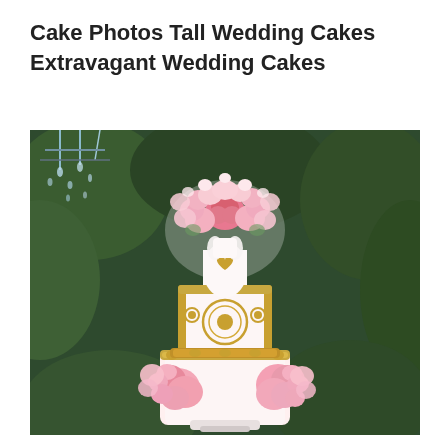Cake Photos Tall Wedding Cakes Extravagant Wedding Cakes
[Figure (photo): A tall extravagant wedding cake decorated with pink and white sugar flowers on top and around the base, gold ornamental embellishments and lace detailing on white tiers, photographed outdoors against a background of dark green foliage with a crystal chandelier visible at top left.]